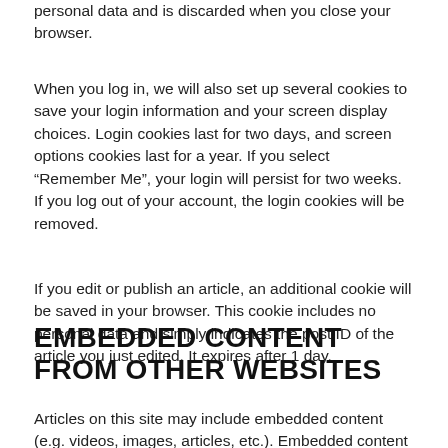personal data and is discarded when you close your browser.
When you log in, we will also set up several cookies to save your login information and your screen display choices. Login cookies last for two days, and screen options cookies last for a year. If you select “Remember Me”, your login will persist for two weeks. If you log out of your account, the login cookies will be removed.
If you edit or publish an article, an additional cookie will be saved in your browser. This cookie includes no personal data and simply indicates the post ID of the article you just edited. It expires after 1 day.
EMBEDDED CONTENT FROM OTHER WEBSITES
Articles on this site may include embedded content (e.g. videos, images, articles, etc.). Embedded content from other websites behavos in the exact